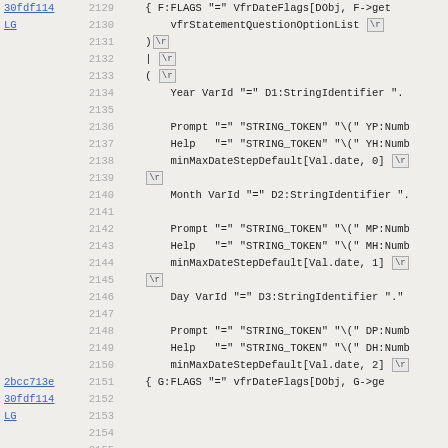[Figure (screenshot): Source code diff/blame view showing lines 2129-2161 with commit hashes, line numbers, and code content including VFR date form fields (Year, Month, Day) with STRING_TOKEN prompts, Help, and minMaxDateStepDefault calls, with \r markers.]